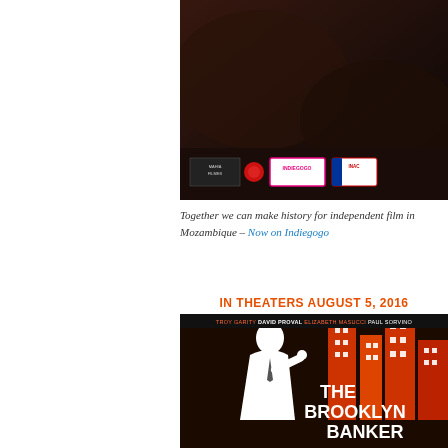[Figure (photo): Top portion of a movie promotional image showing dark background with logos for Mahia Filmes, Indiegogo, and INAC]
Together we can make history for independent film in Mozambique – Now on Indiegogo
[Figure (photo): Movie poster for The Brooklyn Banker, in theaters August 5, 2016. Starring Troy Garity, David Proval, Elizabeth Masucci, Paul Sorvino. Shows a man in a suit with cityscape silhouette in orange and red.]